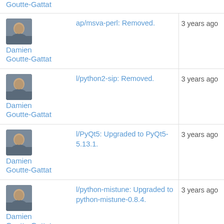Goutte-Gattat
Damien Goutte-Gattat | ap/msva-perl: Removed. | 3 years ago
Damien Goutte-Gattat | l/python2-sip: Removed. | 3 years ago
Damien Goutte-Gattat | l/PyQt5: Upgraded to PyQt5-5.13.1. | 3 years ago
Damien Goutte-Gattat | l/python-mistune: Upgraded to python-mistune-0.8.4. | 3 years ago
Damien Goutte-Gattat | l.python-aafigure: Updated. | 3 years ago
Damien Goutte-Gattat | ap/docbook: Upgraded to docbook-5.1. | 3 years ago